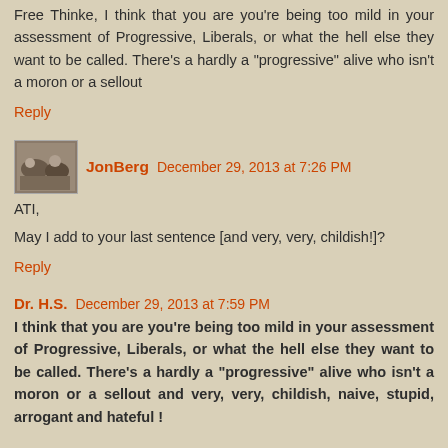Free Thinke, I think that you are you're being too mild in your assessment of Progressive, Liberals, or what the hell else they want to be called. There's a hardly a "progressive" alive who isn't a moron or a sellout
Reply
JonBerg  December 29, 2013 at 7:26 PM
ATI,
May I add to your last sentence [and very, very, childish!]?
Reply
Dr. H.S.  December 29, 2013 at 7:59 PM
I think that you are you're being too mild in your assessment of Progressive, Liberals, or what the hell else they want to be called. There's a hardly a "progressive" alive who isn't a moron or a sellout and very, very, childish, naive, stupid, arrogant and hateful !